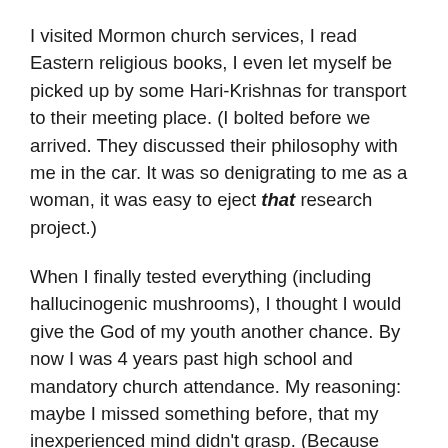I visited Mormon church services, I read Eastern religious books, I even let myself be picked up by some Hari-Krishnas for transport to their meeting place. (I bolted before we arrived. They discussed their philosophy with me in the car. It was so denigrating to me as a woman, it was easy to eject that research project.)
When I finally tested everything (including hallucinogenic mushrooms), I thought I would give the God of my youth another chance. By now I was 4 years past high school and mandatory church attendance. My reasoning: maybe I missed something before, that my inexperienced mind didn't grasp. (Because now I was really experienced…and knew what I didn't want.) I just knew I hadn't found peace, or satisfaction in relationships, religion, work, or drugs.
For the next I had a crisis in faith, I needed a change...